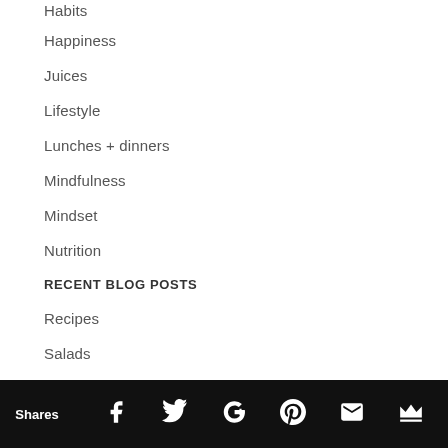Habits
Happiness
Juices
Lifestyle
Lunches + dinners
Mindfulness
Mindset
Nutrition
RECENT BLOG POSTS
Recipes
Salads
Sleep
Smoothies
Snacks
Shares  [Facebook] [Twitter] [Google+] [Pinterest] [Email] [Crown]